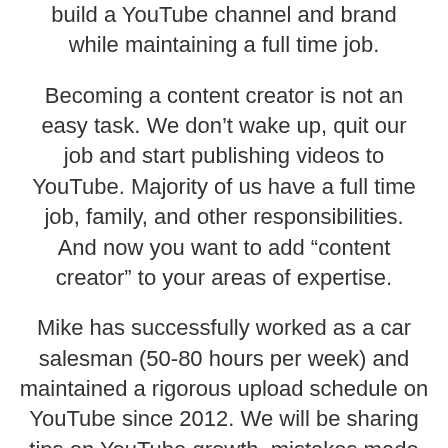build a YouTube channel and brand while maintaining a full time job.
Becoming a content creator is not an easy task. We don’t wake up, quit our job and start publishing videos to YouTube. Majority of us have a full time job, family, and other responsibilities. And now you want to add “content creator” to your areas of expertise.
Mike has successfully worked as a car salesman (50-80 hours per week) and maintained a rigorous upload schedule on YouTube since 2012. We will be sharing tips on YouTube growth, mistakes made along the way, and utilizing your time to be successful and even quitting your job and living your dream life.